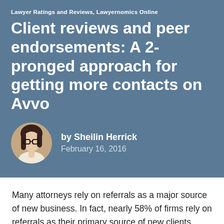Lawyer Ratings and Reviews, Lawyernomics Online
Client reviews and peer endorsements: A 2-pronged approach for getting more contacts on Avvo
[Figure (photo): Circular headshot photo of Sheilin Herrick, a woman with dark hair and glasses]
by Sheilin Herrick
February 16, 2016
Many attorneys rely on referrals as a major source of new business. In fact, nearly 58% of firms rely on referrals as their primary source of new clients. Because referrals often come from sources attorneys do not have direct contact with, they may not know